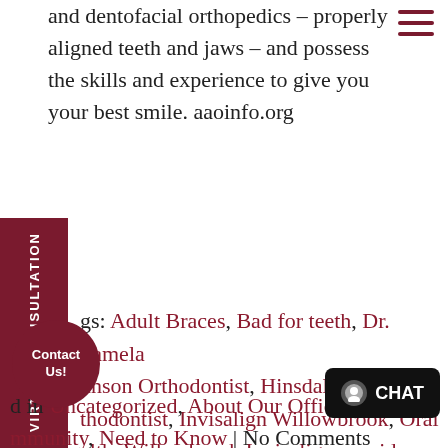and dentofacial orthopedics – properly aligned teeth and jaws – and possess the skills and experience to give you your best smile. aaoinfo.org
Tags: Adult Braces, Bad for teeth, Dr. Pamela Johnson Orthodontist, Hinsdale Orthodontist, Invisalign Willowbrook, Oral Health, Willowbrook Invisalign provider, Willowbrook Orthodontist, dental health, Johnson Orthodontics
Filed in Uncategorized, About Our Office, Community, Need to Know | No Comments